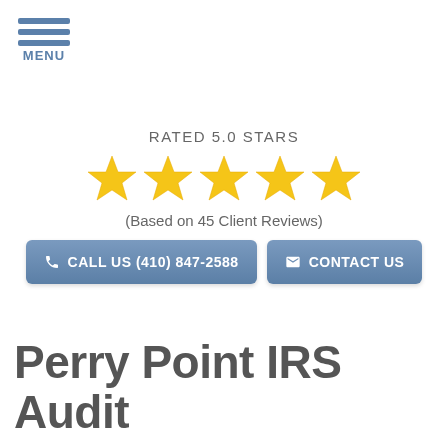MENU
RATED 5.0 STARS
[Figure (other): Five gold star rating icons]
(Based on 45 Client Reviews)
CALL US (410) 847-2588
CONTACT US
Perry Point IRS Audit